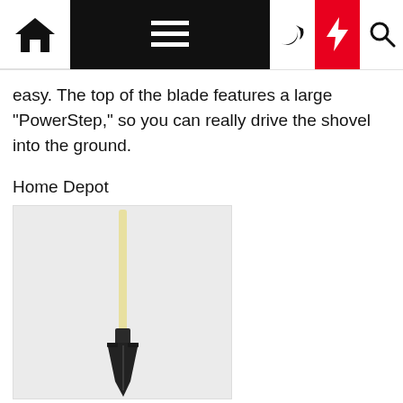Navigation bar with home, menu, moon, lightning, and search icons
easy. The top of the blade features a large "PowerStep," so you can really drive the shovel into the ground.
Home Depot
[Figure (photo): A digging shovel with a long pale wooden handle and a dark metal blade, shown against a light gray background.]
Digging Shovel
This budget shovel is fairly barebones, but all you